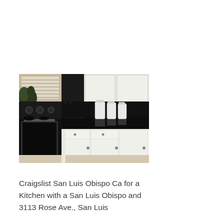[Figure (photo): Kitchen interior showing black granite countertops, white lower cabinets with silver knobs, a black oven/range on the left, white upper cabinets in the background, white ceramic canisters on the counter, and a window with blinds in the upper left.]
Craigslist San Luis Obispo Ca for a Kitchen with a San Luis Obispo and 3113 Rose Ave., San Luis